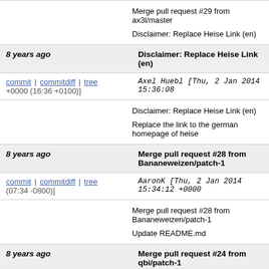Merge pull request #29 from ax3l/master

Disclaimer: Replace Heise Link (en)
8 years ago   Disclaimer: Replace Heise Link (en)
commit | commitdiff | tree  Axel Huebl [Thu, 2 Jan 2014 15:36:08 +0000 (16:36 +0100)]
Disclaimer: Replace Heise Link (en)

Replace the link to the german homepage of heise
8 years ago   Merge pull request #28 from Bananeweizen/patch-1
commit | commitdiff | tree  AaronK [Thu, 2 Jan 2014 15:34:12 +0000 (07:34 -0800)]
Merge pull request #28 from Bananeweizen/patch-1

Update README.md
8 years ago   Merge pull request #24 from qbi/patch-1
commit | commitdiff | tree  AaronK [Thu, 2 Jan 2014 15:33:30 +0000